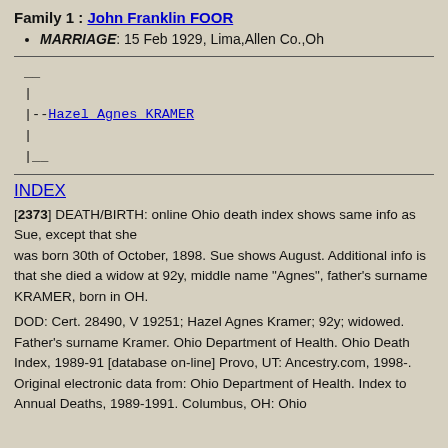Family 1 : John Franklin FOOR
MARRIAGE: 15 Feb 1929, Lima,Allen Co.,Oh
__
|
|--Hazel Agnes KRAMER 
|
|__
INDEX
[2373] DEATH/BIRTH: online Ohio death index shows same info as Sue, except that she was born 30th of October, 1898. Sue shows August. Additional info is that she died a widow at 92y, middle name "Agnes", father's surname KRAMER, born in OH.
DOD: Cert. 28490, V 19251; Hazel Agnes Kramer; 92y; widowed. Father's surname Kramer. Ohio Department of Health. Ohio Death Index, 1989-91 [database on-line] Provo, UT: Ancestry.com, 1998-. Original electronic data from: Ohio Department of Health. Index to Annual Deaths, 1989-1991. Columbus, OH: Ohio Department of Health, State Vital Statistics Unit, 19...